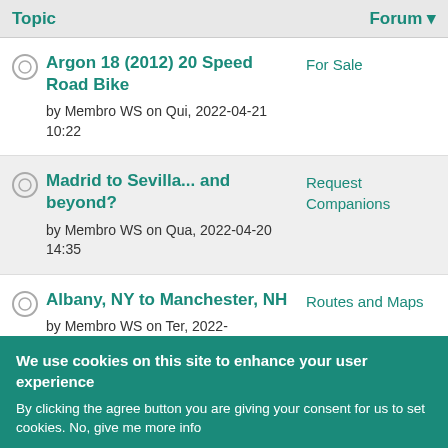| Topic | Forum |
| --- | --- |
| Argon 18 (2012) 20 Speed Road Bike
by Membro WS on Qui, 2022-04-21 10:22 | For Sale |
| Madrid to Sevilla... and beyond?
by Membro WS on Qua, 2022-04-20 14:35 | Request Companions |
| Albany, NY to Manchester, NH
by Membro WS on Ter, 2022-... | Routes and Maps |
We use cookies on this site to enhance your user experience
By clicking the agree button you are giving your consent for us to set cookies. No, give me more info